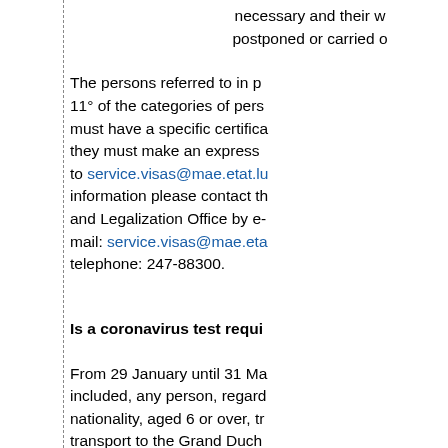necessary and their w postponed or carried o
The persons referred to in p 11° of the categories of pers must have a specific certifica they must make an express to service.visas@mae.etat.lu information please contact th and Legalization Office by e-mail: service.visas@mae.eta telephone: 247-88300.
Is a coronavirus test requi
From 29 January until 31 Ma included, any person, regard nationality, aged 6 or over, tr transport to the Grand Duch must present a negative res electronic document) of a nu amplification test of SARS-C (either by PCR, TMA and M